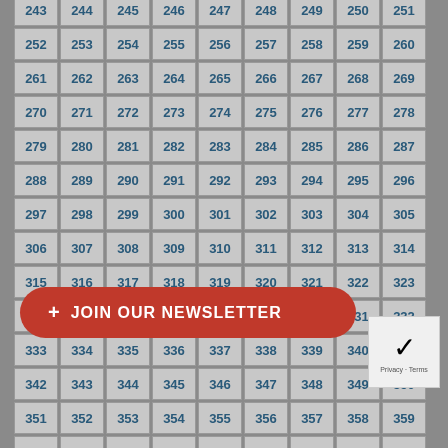| 243 | 244 | 245 | 246 | 247 | 248 | 249 | 250 | 251 |
| 252 | 253 | 254 | 255 | 256 | 257 | 258 | 259 | 260 |
| 261 | 262 | 263 | 264 | 265 | 266 | 267 | 268 | 269 |
| 270 | 271 | 272 | 273 | 274 | 275 | 276 | 277 | 278 |
| 279 | 280 | 281 | 282 | 283 | 284 | 285 | 286 | 287 |
| 288 | 289 | 290 | 291 | 292 | 293 | 294 | 295 | 296 |
| 297 | 298 | 299 | 300 | 301 | 302 | 303 | 304 | 305 |
| 306 | 307 | 308 | 309 | 310 | 311 | 312 | 313 | 314 |
| 315 | 316 | 317 | 318 | 319 | 320 | 321 | 322 | 323 |
| 324 | 325 | 326 | 327 | 328 | 329 | 330 | 331 | 332 |
| 333 | 334 | 335 | 336 | 337 | 338 | 339 | 340 | 341 |
| 342 | 343 | 344 | 345 | 346 | 347 | 348 | 349 | 350 |
| 351 | 352 | 353 | 354 | 355 | 356 | 357 | 358 | 359 |
| 360 | 361 | 362 | 363 | 364 | 365 | 366 | 367 | 368 |
| 369 | 370 | 371 | 372 | 373 | 374 | 375 | 376 | 377 |
| 378 | 379 | 380 | 381 | 382 | 383 | 384 | 385 | 386 |
| 387 | 388 | 389 | 390 | 391 | 392 | 393 | 394 | 395 |
| 396 | 397 | 398 | 399 | 400 | 401 | 402 | 403 | 404 |
| 405 | 406 | 407 | 408 | 409 | 410 | 411 | 412 | 4… |
| 414 | 415 | 416 | 417 | 418 | 419 | 420 | 421 | 4… |
| 423 | 424 | 425 | 426 | 427 | 428 | 429 | 430 | 4… |
| 432 | 433 | 434 | 435 | 436 | 437 | 438 | 439 | 440 |
+ JOIN OUR NEWSLETTER